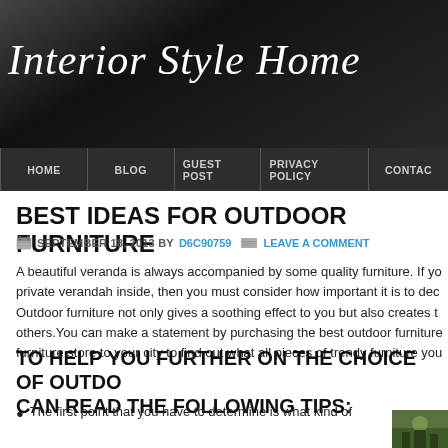Interior Style Home
HOME | BLOG | GUEST POST | PRIVACY POLICY | CONTACT
BEST IDEAS FOR OUTDOOR FURNITURE
SEPTEMBER 18, 2013 BY D6C90759  LEAVE A COMMENT
A beautiful veranda is always accompanied by some quality furniture. If you have a private verandah inside, then you must consider how important it is to decorate it. Outdoor furniture not only gives a soothing effect to you but also creates the same for others. You can make a statement by purchasing the best outdoor furniture. Visit the furniture store to your city to find out what all pieces of trendy furniture you
TO HELP YOU FURTHER ON THE CHOICE OF OUTDOOR, CAN READ THE FOLLOWING TIPS:
The first point that you have to determine is what kind of